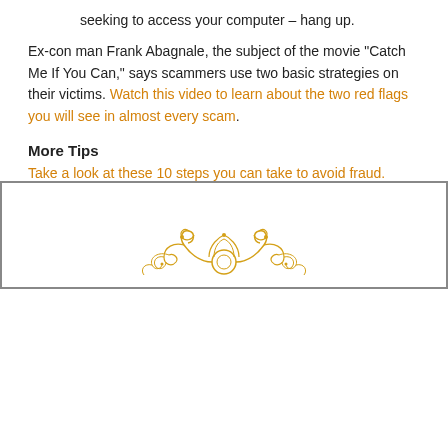seeking to access your computer – hang up.
Ex-con man Frank Abagnale, the subject of the movie “Catch Me If You Can,” says scammers use two basic strategies on their victims. Watch this video to learn about the two red flags you will see in almost every scam.
More Tips
Take a look at these 10 steps you can take to avoid fraud.
[Figure (illustration): Decorative golden ornamental flourish design at bottom of page within a bordered box]